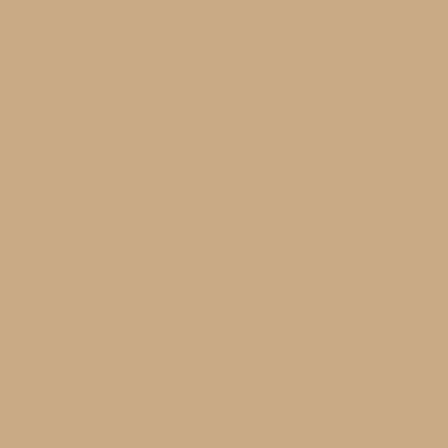I Believe A Strong Milita...
Sufficient condition mea... in other areas. For exam... Arabian Empire, the Mo... problems with the econo... them as world power, as...
Necessary condition me... is not strong, then no ma... you cannot be called a w... of poets and philosophe... strong military and did n... architecture, its great bo... arrows and horses of the... was then occupied by a... Empire as a great powe... Sweden a great power, ... very healthy society, ver... power, why? You think it... has great environmental... formidable military inher... Permanent Security me... all have a formidable mi...